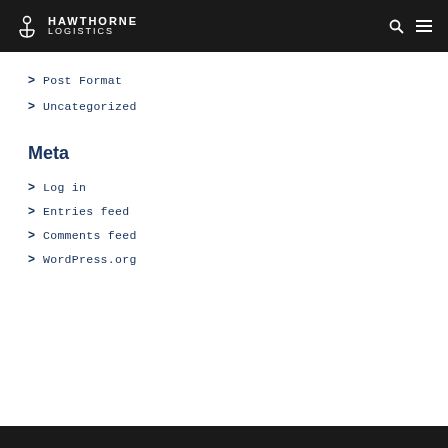Hawthorne Logistics
Post Format
Uncategorized
Meta
Log in
Entries feed
Comments feed
WordPress.org